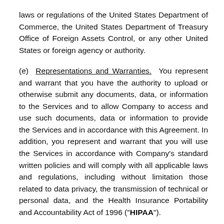laws or regulations of the United States Department of Commerce, the United States Department of Treasury Office of Foreign Assets Control, or any other United States or foreign agency or authority.
(e) Representations and Warranties. You represent and warrant that you have the authority to upload or otherwise submit any documents, data, or information to the Services and to allow Company to access and use such documents, data or information to provide the Services and in accordance with this Agreement. In addition, you represent and warrant that you will use the Services in accordance with Company's standard written policies and will comply with all applicable laws and regulations, including without limitation those related to data privacy, the transmission of technical or personal data, and the Health Insurance Portability and Accountability Act of 1996 ("HIPAA").